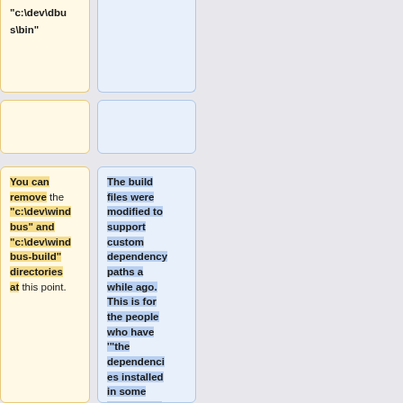"c:\dev\dbus\bin"
You can remove the "c:\dev\windbus" and "c:\dev\windbus-build" directories at this point.
The build files were modified to support custom dependency paths a while ago. This is for the people who have ""the dependencies installed in some other place than the autogenerated directory.